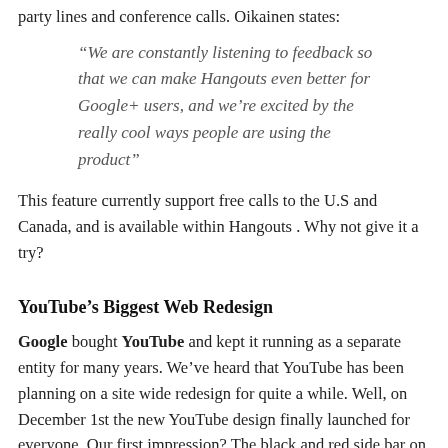party lines and conference calls. Oikainen states:
“We are constantly listening to feedback so that we can make Hangouts even better for Google+ users, and we’re excited by the really cool ways people are using the product”
This feature currently support free calls to the U.S and Canada, and is available within Hangouts . Why not give it a try?
YouTube’s Biggest Web Redesign
Google bought YouTube and kept it running as a separate entity for many years. We’ve heard that YouTube has been planning on a site wide redesign for quite a while. Well, on December 1st the new YouTube design finally launched for everyone. Our first impression? The black and red side bar on the landing page looks a lot like